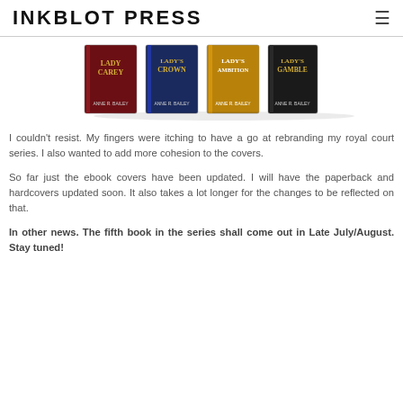INKBLOT PRESS
[Figure (photo): Four book covers of the royal court series: Lady Carey, Lady's Crown, Lady's Ambition, Lady's Gamble by Anne R. Bailey, shown as 3D paperback books side by side.]
I couldn't resist. My fingers were itching to have a go at rebranding my royal court series. I also wanted to add more cohesion to the covers.
So far just the ebook covers have been updated. I will have the paperback and hardcovers updated soon. It also takes a lot longer for the changes to be reflected on that.
In other news. The fifth book in the series shall come out in Late July/August. Stay tuned!